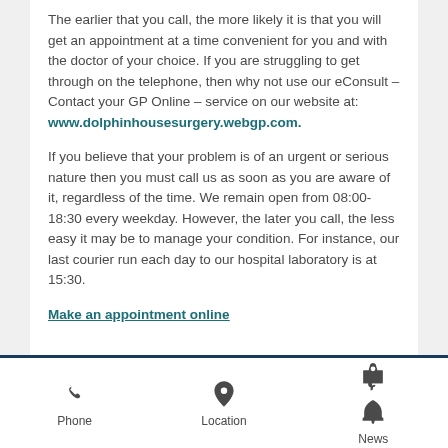The earlier that you call, the more likely it is that you will get an appointment at a time convenient for you and with the doctor of your choice. If you are struggling to get through on the telephone, then why not use our eConsult – Contact your GP Online – service on our website at: www.dolphinhousesurgery.webgp.com.
If you believe that your problem is of an urgent or serious nature then you must call us as soon as you are aware of it, regardless of the time. We remain open from 08:00-18:30 every weekday. However, the later you call, the less easy it may be to manage your condition. For instance, our last courier run each day to our hospital laboratory is at 15:30.
Make an appointment online
Phone | Location | News